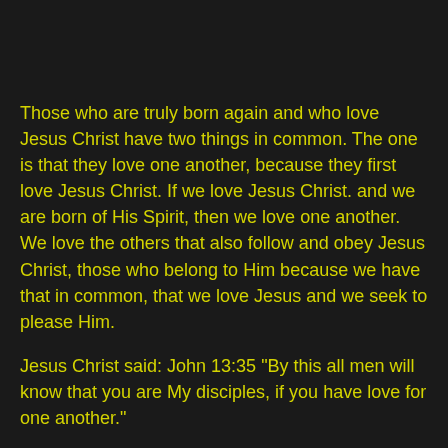Those who are truly born again and who love Jesus Christ have two things in common. The one is that they love one another, because they first love Jesus Christ. If we love Jesus Christ. and we are born of His Spirit, then we love one another. We love the others that also follow and obey Jesus Christ, those who belong to Him because we have that in common, that we love Jesus and we seek to please Him.
Jesus Christ said: John 13:35 "By this all men will know that you are My disciples, if you have love for one another."
People who belong to the same group love one another, they tolerate one another, they support one another because they are of the same group but they EXCLUDE others that are not of that "church" or of that group. If we have the love of Christ we do not exclude others, we love them with the love of Christ. But we do not go along with the things of the world. We do not participate in the pleasures  of the world